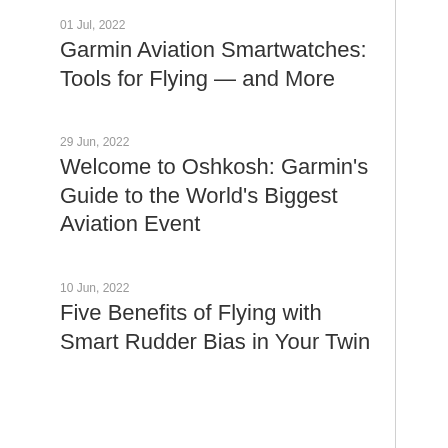01 Jul, 2022
Garmin Aviation Smartwatches: Tools for Flying — and More
29 Jun, 2022
Welcome to Oshkosh: Garmin's Guide to the World's Biggest Aviation Event
10 Jun, 2022
Five Benefits of Flying with Smart Rudder Bias in Your Twin